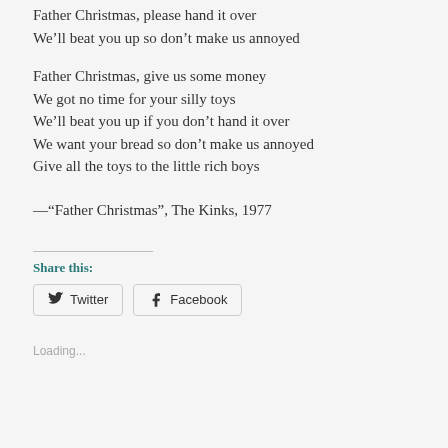Father Christmas, please hand it over
We’ll beat you up so don’t make us annoyed
Father Christmas, give us some money
We got no time for your silly toys
We’ll beat you up if you don’t hand it over
We want your bread so don’t make us annoyed
Give all the toys to the little rich boys
—“Father Christmas”, The Kinks, 1977
Share this:
Twitter
Facebook
Loading...